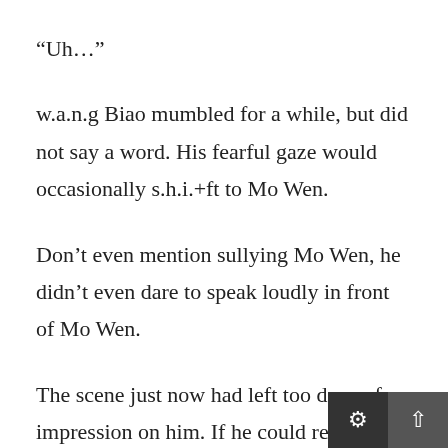“Uh…”
w.a.n.g Biao mumbled for a while, but did not say a word. His fearful gaze would occasionally s.h.i.+ft to Mo Wen.
Don’t even mention sullying Mo Wen, he didn’t even dare to speak loudly in front of Mo Wen.
The scene just now had left too deep of an impression on him. If he could redo it, he would rather choose to die instantly. Once the condition broke out, you couldn’t die even if you wanted to. Today, he personally experienced